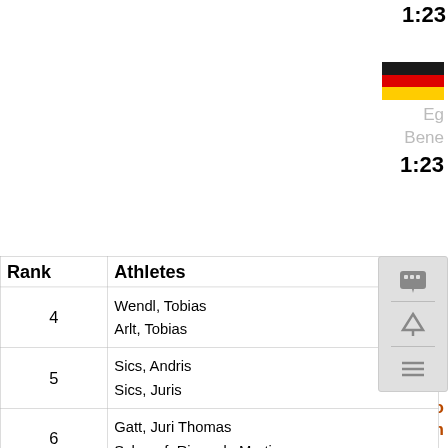1:23
[Figure (illustration): German flag (black, red, gold horizontal stripes)]
Eg
Bene
1:23
[Figure (illustration): Latvian flag (dark red, white, dark red horizontal stripes)]
Bo
Plun
1:23
| Rank | Athletes |
| --- | --- |
| 4 | Wendl, Tobias
Arlt, Tobias |
| 5 | Sics, Andris
Sics, Juris |
| 6 | Gatt, Juri Thomas
Schoepf, Riccardo Martin |
| 7 | Denisev, Aleksandr |